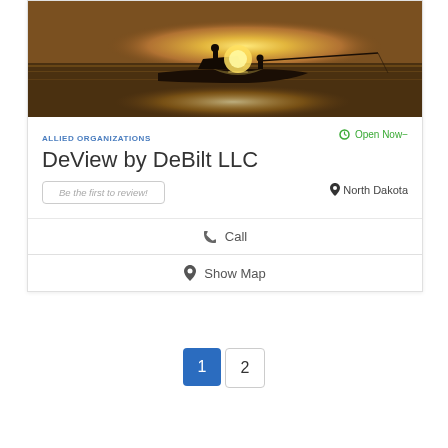[Figure (photo): Photo of a fishing boat silhouetted against a golden sunset over water, with two figures on the boat and a long fishing rod extending to the right.]
ALLIED ORGANIZATIONS
Open Now−
DeView by DeBilt LLC
Be the first to review!
North Dakota
Call
Show Map
1  2